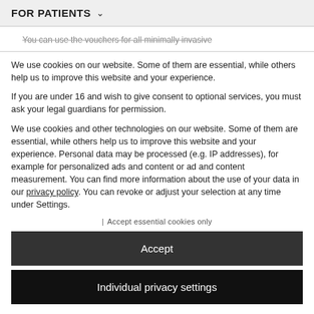FOR PATIENTS ˅
You can use the vouchers for all minimally invasive
We use cookies on our website. Some of them are essential, while others help us to improve this website and your experience.
If you are under 16 and wish to give consent to optional services, you must ask your legal guardians for permission.
We use cookies and other technologies on our website. Some of them are essential, while others help us to improve this website and your experience. Personal data may be processed (e.g. IP addresses), for example for personalized ads and content or ad and content measurement. You can find more information about the use of your data in our privacy policy. You can revoke or adjust your selection at any time under Settings.
| Accept essential cookies only
Accept
Individual privacy settings